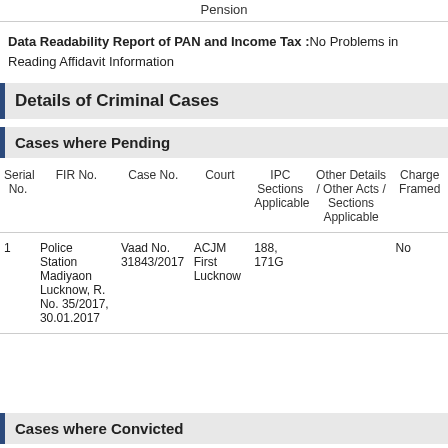Pension
Data Readability Report of PAN and Income Tax :No Problems in Reading Affidavit Information
Details of Criminal Cases
Cases where Pending
| Serial No. | FIR No. | Case No. | Court | IPC Sections Applicable | Other Details / Other Acts / Sections Applicable | Charges Framed |
| --- | --- | --- | --- | --- | --- | --- |
| 1 | Police Station Madiyaon Lucknow, R. No. 35/2017, 30.01.2017 | Vaad No. 31843/2017 | ACJM First Lucknow | 188, 171G |  | No |
Cases where Convicted